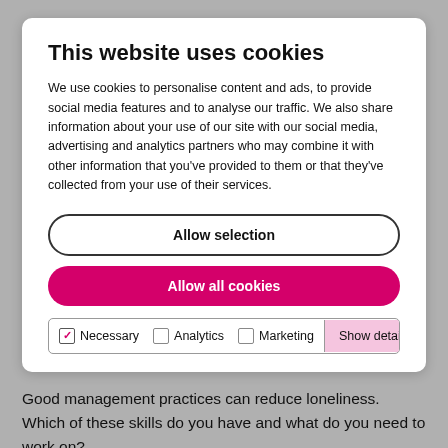This website uses cookies
We use cookies to personalise content and ads, to provide social media features and to analyse our traffic. We also share information about your use of our site with our social media, advertising and analytics partners who may combine it with other information that you've provided to them or that they've collected from your use of their services.
[Figure (screenshot): Cookie consent dialog with 'Allow selection' button (outlined), 'Allow all cookies' button (pink/magenta filled), and cookie category checkboxes for Necessary (checked), Analytics, and Marketing, plus a 'Show details' dropdown button.]
How managers can tackle loneliness in the workplace
Good management practices can reduce loneliness. Which of these skills do you have and what do you need to work on?
[Article] [Crisis Management]